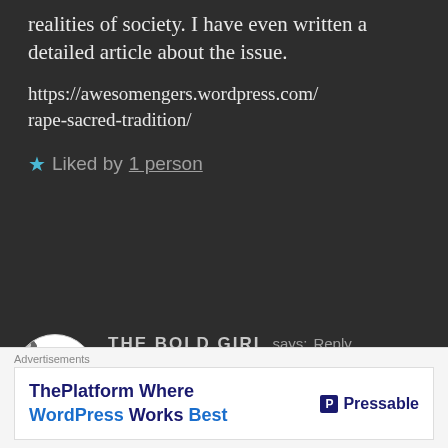realities of society. I have even written a detailed article about the issue.
https://awesomengers.wordpress.com/rape-sacred-tradition/
★ Liked by 1 person
THE BOLD GIRL says: Reply
Jun 27, 2020 at 6:41 PM
Thanks a lot, Mahesh!😊😊🤗🤗
Advertisements
ThePlatform Where WordPress Works Best | Pressable